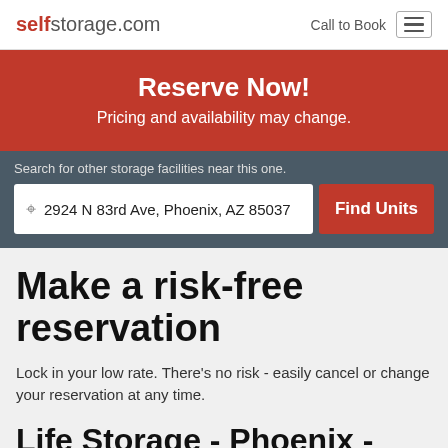selfstorage.com  Call to Book
Reserve Now!
Pricing and availability may change.
Search for other storage facilities near this one.
2924 N 83rd Ave, Phoenix, AZ 85037
Find Units
Make a risk-free reservation
Lock in your low rate. There's no risk - easily cancel or change your reservation at any time.
Life Storage - Phoenix - North 83rd Avenue